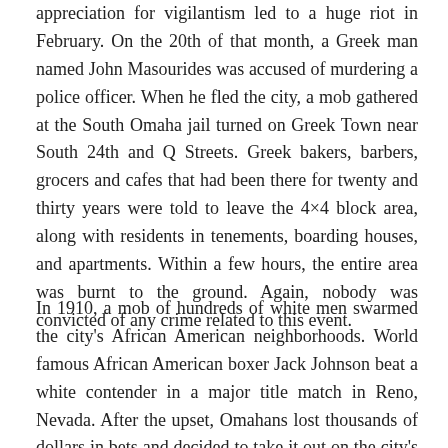appreciation for vigilantism led to a huge riot in February. On the 20th of that month, a Greek man named John Masourides was accused of murdering a police officer. When he fled the city, a mob gathered at the South Omaha jail turned on Greek Town near South 24th and Q Streets. Greek bakers, barbers, grocers and cafes that had been there for twenty and thirty years were told to leave the 4×4 block area, along with residents in tenements, boarding houses, and apartments. Within a few hours, the entire area was burnt to the ground. Again, nobody was convicted of any crime related to this event.
In 1910, a mob of hundreds of white men swarmed the city's African American neighborhoods. World famous African American boxer Jack Johnson beat a white contender in a major title match in Reno, Nevada. After the upset, Omahans lost thousands of dollars in bets and decided to take it out on the city's African Americans. They